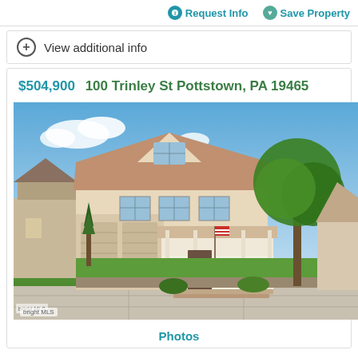Request Info   Save Property
View additional info
$504,900   100 Trinley St Pottstown, PA 19465
[Figure (photo): Front exterior photo of a two-story colonial-style house with covered front porch, attached garage, green lawn, and large tree on the right. Bright blue sky with clouds in the background. Bright MLS watermark in lower left.]
Photos